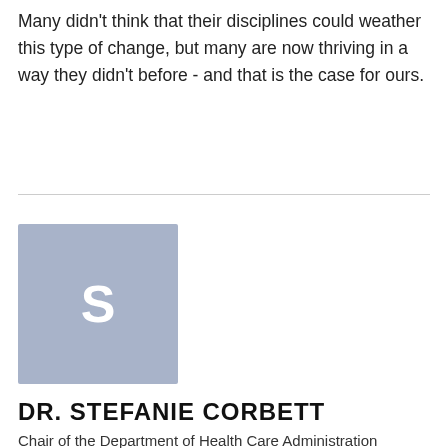Many didn't think that their disciplines could weather this type of change, but many are now thriving in a way they didn't before - and that is the case for ours.
[Figure (illustration): Avatar placeholder image with a light blue-grey background and a white bold letter 'S' centered on it, representing Dr. Stefanie Corbett.]
DR. STEFANIE CORBETT
Chair of the Department of Health Care Administration